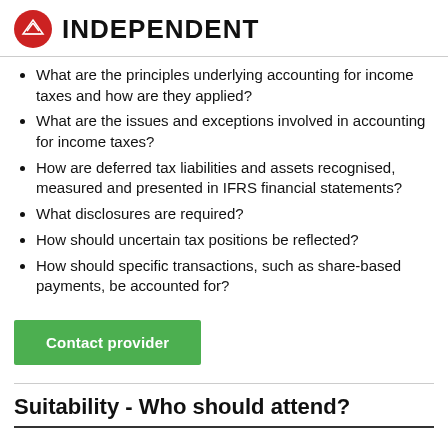INDEPENDENT
What are the principles underlying accounting for income taxes and how are they applied?
What are the issues and exceptions involved in accounting for income taxes?
How are deferred tax liabilities and assets recognised, measured and presented in IFRS financial statements?
What disclosures are required?
How should uncertain tax positions be reflected?
How should specific transactions, such as share-based payments, be accounted for?
Contact provider
Suitability - Who should attend?